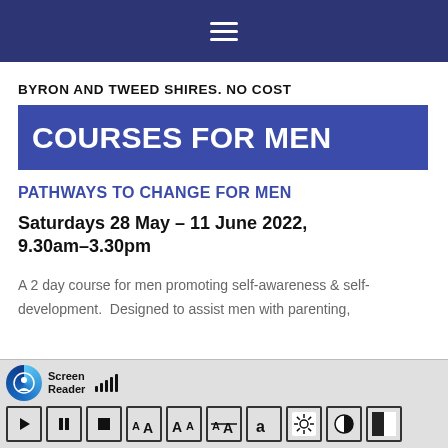☰ (navigation menu bar)
BYRON AND TWEED SHIRES. NO COST
COURSES FOR MEN
PATHWAYS TO CHANGE FOR MEN
Saturdays 28 May – 11 June 2022, 9.30am–3.30pm
A 2 day course for men promoting self-awareness & self-development. Designed to assist men with parenting,